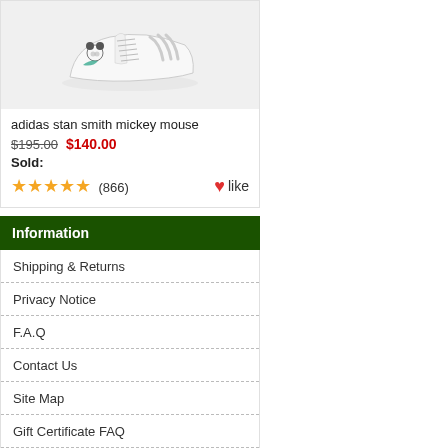[Figure (photo): Product photo of Adidas Stan Smith Mickey Mouse white sneaker with Mickey Mouse graphics on a light gray background]
adidas stan smith mickey mouse
$195.00  $140.00
Sold:
★★★★★ (866)  ♥like
Information
Shipping & Returns
Privacy Notice
F.A.Q
Contact Us
Site Map
Gift Certificate FAQ
Discount Coupons